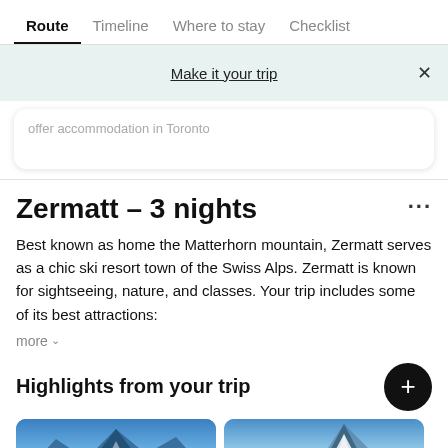Route | Timeline | Where to stay | Checklist
Make it your trip
offer accommodation in Toronto
Zermatt – 3 nights
Best known as home the Matterhorn mountain, Zermatt serves as a chic ski resort town of the Swiss Alps. Zermatt is known for sightseeing, nature, and classes. Your trip includes some of its best attractions:
more
Highlights from your trip
[Figure (photo): Mountain landscape photo 1]
[Figure (photo): Matterhorn mountain photo]